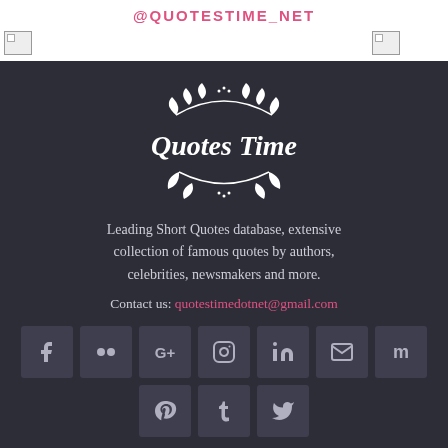@QUOTESTIME_NET
[Figure (logo): Two image placeholders in top-left area]
[Figure (logo): Quotes Time logo — decorative script text with leaf/branch ornaments on dark background]
Leading Short Quotes database, extensive collection of famous quotes by authors, celebrities, newsmakers and more.
Contact us: quotestimedotnet@gmail.com
[Figure (infographic): Social media icon buttons: Facebook, Flickr, Google+, Instagram, LinkedIn, Email, Mix (row 1); Pinterest, Tumblr, Twitter (row 2)]